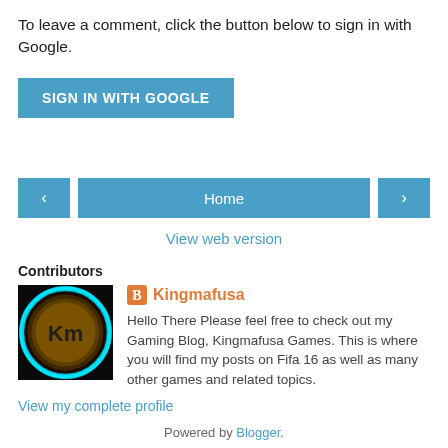To leave a comment, click the button below to sign in with Google.
[Figure (other): Blue 'SIGN IN WITH GOOGLE' button]
[Figure (other): Navigation bar with left arrow, Home button, and right arrow]
View web version
Contributors
[Figure (photo): Circular avatar with 'Km' text on dark background with cyan glow]
Kingmafusa
Hello There Please feel free to check out my Gaming Blog, Kingmafusa Games. This is where you will find my posts on Fifa 16 as well as many other games and related topics.
View my complete profile
Powered by Blogger.